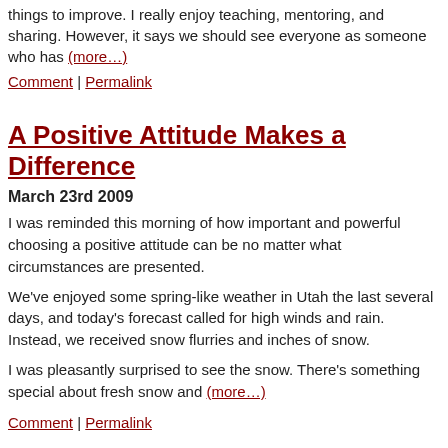things to improve. I really enjoy teaching, mentoring, and sharing. However, it says we should see everyone as someone who has (more...)
Comment | Permalink
A Positive Attitude Makes a Difference
March 23rd 2009
I was reminded this morning of how important and powerful choosing a positive attitude can be no matter what circumstances are presented.
We've enjoyed some spring-like weather in Utah the last several days, and today's forecast called for high winds and rain. Instead, we received snow flurries and inches of snow.
I was pleasantly surprised to see the snow. There's something special about fresh snow and (more...)
Comment | Permalink
Encouraging Others Who Have Doubts
March 16th 2009